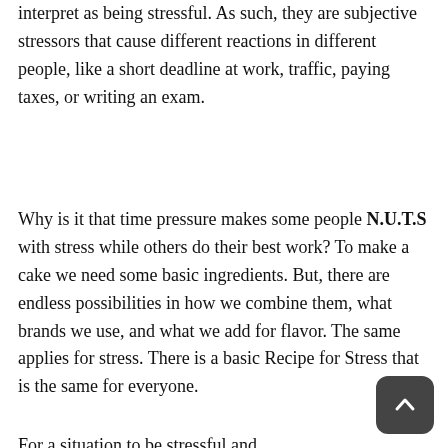interpret as being stressful. As such, they are subjective stressors that cause different reactions in different people, like a short deadline at work, traffic, paying taxes, or writing an exam.
Why is it that time pressure makes some people N.U.T.S with stress while others do their best work? To make a cake we need some basic ingredients. But, there are endless possibilities in how we combine them, what brands we use, and what we add for flavor. The same applies for stress. There is a basic Recipe for Stress that is the same for everyone.
For a situation to be stressful and